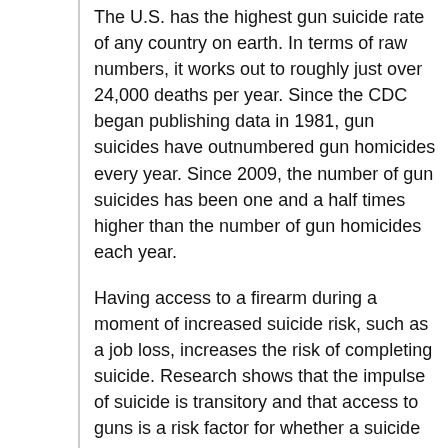The U.S. has the highest gun suicide rate of any country on earth. In terms of raw numbers, it works out to roughly just over 24,000 deaths per year. Since the CDC began publishing data in 1981, gun suicides have outnumbered gun homicides every year. Since 2009, the number of gun suicides has been one and a half times higher than the number of gun homicides each year.
Having access to a firearm during a moment of increased suicide risk, such as a job loss, increases the risk of completing suicide. Research shows that the impulse of suicide is transitory and that access to guns is a risk factor for whether a suicide attempt is fatal. The interval between the decision to act and an attempt can be as short as 10 minutes or less, and research shows a substitute to a different method is unlikely when a highly lethal method is available. Among adults who have recently purchased a gun, there is a higher firearm suicide rate, especially within the first year of a gun purchase. The high correlation between access to guns and suicide rates is closely tied to the lethality of firearms—suicide attempts involving a firearm are far more likely to result in death than other methods."
Also, according to the CDC, in 2020, the most recent year for